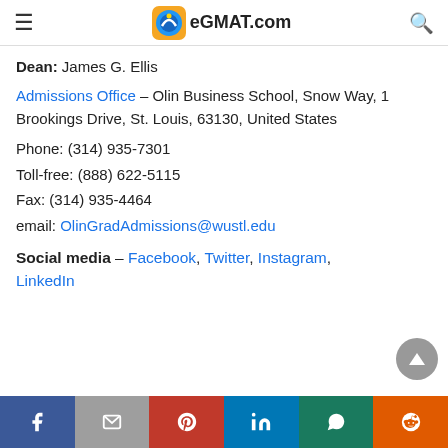eGMAT.com
Dean: James G. Ellis
Admissions Office – Olin Business School, Snow Way, 1 Brookings Drive, St. Louis, 63130, United States
Phone: (314) 935-7301
Toll-free: (888) 622-5115
Fax: (314) 935-4464
email: OlinGradAdmissions@wustl.edu
Social media – Facebook, Twitter, Instagram, LinkedIn